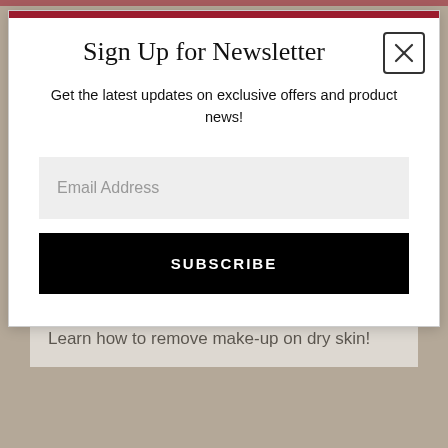Sign Up for Newsletter
Get the latest updates on exclusive offers and product news!
Email Address
SUBSCRIBE
flakiness, especially if you have dry skin. Learn how to remove make-up on dry skin!